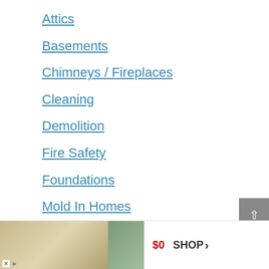Attics
Basements
Chimneys / Fireplaces
Cleaning
Demolition
Fire Safety
Foundations
Mold In Homes
Roofing Issues
Septic Units
Toilets & Drains (partial)
[Figure (screenshot): Advertisement banner at the bottom showing bedding products with $0 price and SHOP button]